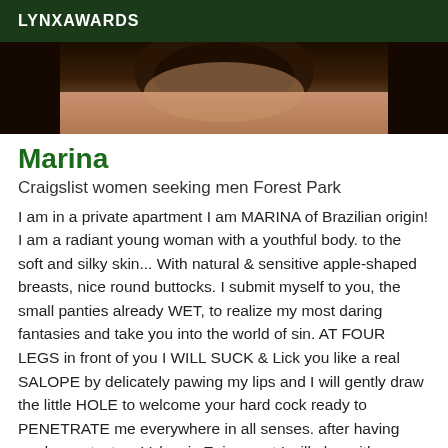LYNXAWARDS
[Figure (photo): Partial photo of a woman in black lace clothing, cropped to show torso area against dark background]
Marina
Craigslist women seeking men Forest Park
I am in a private apartment I am MARINA of Brazilian origin! I am a radiant young woman with a youthful body. to the soft and silky skin... With natural & sensitive apple-shaped breasts, nice round buttocks. I submit myself to you, the small panties already WET, to realize my most daring fantasies and take you into the world of sin. AT FOUR LEGS in front of you I WILL SUCK & Lick you like a real SALOPE by delicately pawing my lips and I will gently draw the little HOLE to welcome your hard cock ready to PENETRATE me everywhere in all senses. after having made you taste a Volcanic Enjoyment I will play with your sperm and again more if you wish it, and will be sure no end of the surprise...